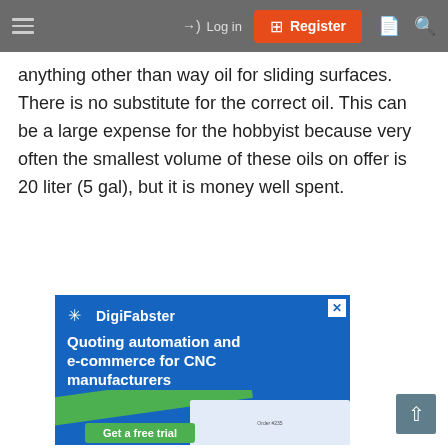Log in | Register
anything other than way oil for sliding surfaces. There is no substitute for the correct oil. This can be a large expense for the hobbyist because very often the smallest volume of these oils on offer is 20 liter (5 gal), but it is money well spent.
[Figure (screenshot): DigiFabster advertisement banner: blue background with logo, headline 'Quoting automation and e-commerce for CNC manufacturers', green stripe, dashboard screenshot, and 'Get a free trial' green button.]